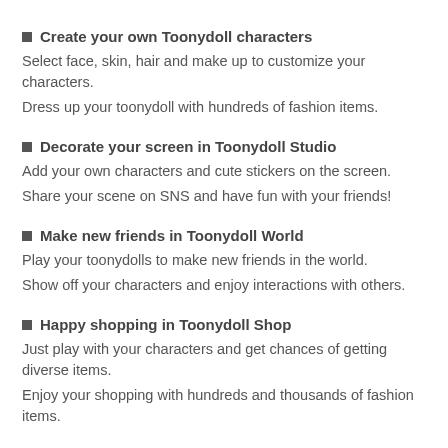■ Create your own Toonydoll characters
Select face, skin, hair and make up to customize your characters.
Dress up your toonydoll with hundreds of fashion items.
■ Decorate your screen in Toonydoll Studio
Add your own characters and cute stickers on the screen.
Share your scene on SNS and have fun with your friends!
■ Make new friends in Toonydoll World
Play your toonydolls to make new friends in the world.
Show off your characters and enjoy interactions with others.
■ Happy shopping in Toonydoll Shop
Just play with your characters and get chances of getting diverse items.
Enjoy your shopping with hundreds and thousands of fashion items.